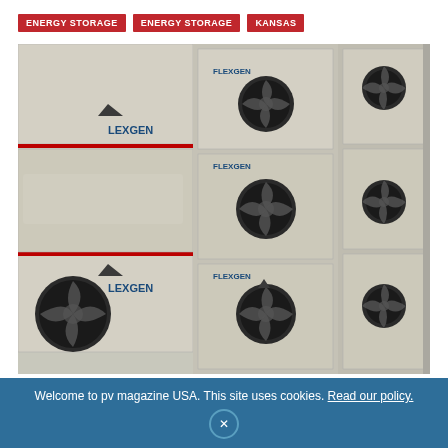ENERGY STORAGE
ENERGY STORAGE
KANSAS
[Figure (photo): Rows of stacked FlexGen energy storage battery units with circular cooling fans, photographed in a data-center-like facility. Units are beige/cream colored with FlexGen branding visible.]
Welcome to pv magazine USA. This site uses cookies. Read our policy.